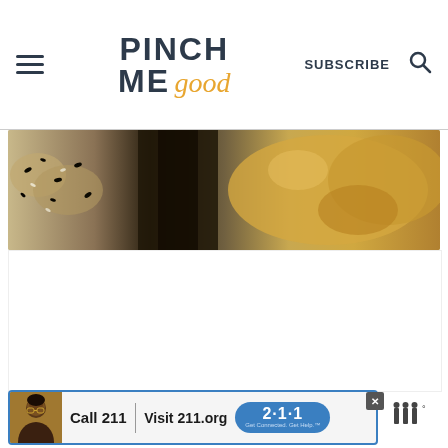Pinch Me Good — SUBSCRIBE
[Figure (photo): Close-up photo of baked goods — bagels or rolls with sesame seeds and flaky pastry, golden brown with toppings]
[Figure (photo): White advertisement placeholder area]
[Figure (other): Advertisement banner: photo of smiling person, text 'Call 211 | Visit 211.org' with blue 2-1-1 badge logo]